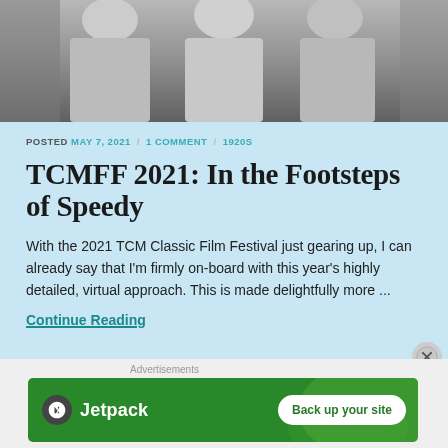[Figure (photo): Black and white photo of people standing together, cropped showing torsos and partial faces]
POSTED MAY 7, 2021 / 1 COMMENT / 1920S
TCMFF 2021: In the Footsteps of Speedy
With the 2021 TCM Classic Film Festival just gearing up, I can already say that I'm firmly on-board with this year's highly detailed, virtual approach. This is made delightfully more ...
Continue Reading
Advertisements
[Figure (screenshot): Jetpack advertisement banner with green background, Jetpack logo on left and 'Back up your site' button on right]